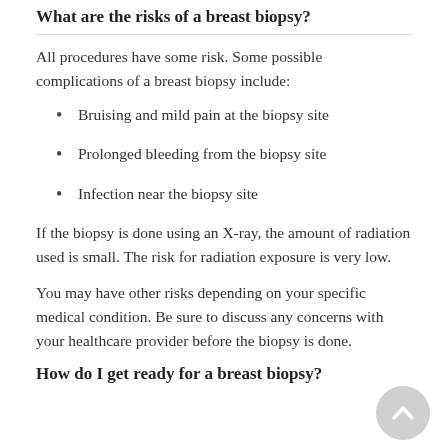What are the risks of a breast biopsy?
All procedures have some risk. Some possible complications of a breast biopsy include:
Bruising and mild pain at the biopsy site
Prolonged bleeding from the biopsy site
Infection near the biopsy site
If the biopsy is done using an X-ray, the amount of radiation used is small. The risk for radiation exposure is very low.
You may have other risks depending on your specific medical condition. Be sure to discuss any concerns with your healthcare provider before the biopsy is done.
How do I get ready for a breast biopsy?